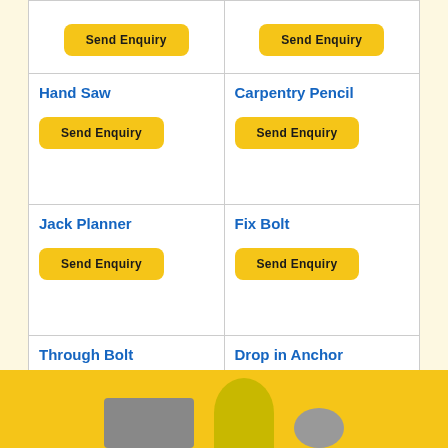Send Enquiry (top-left partial)
Send Enquiry (top-right partial)
Hand Saw
Carpentry Pencil
Jack Planner
Fix Bolt
Through Bolt
Drop in Anchor
[Figure (photo): Yellow banner with person wearing hat and industrial objects]